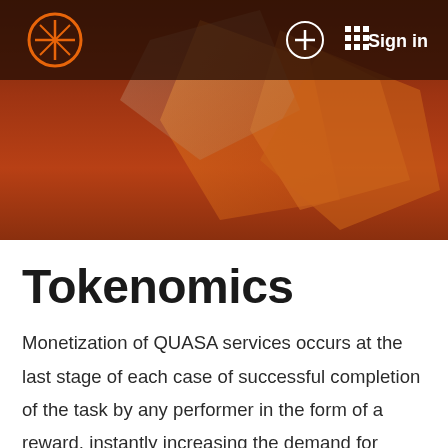Sign in
[Figure (screenshot): Hero banner image with dark brownish-red background and abstract orange geometric shapes, with navigation bar overlay containing QUASA logo, plus icon, grid icon, and Sign in button]
Tokenomics
Monetization of QUASA services occurs at the last stage of each case of successful completion of the task by any performer in the form of a reward, instantly increasing the demand for tokens.
QUASA income consists of two